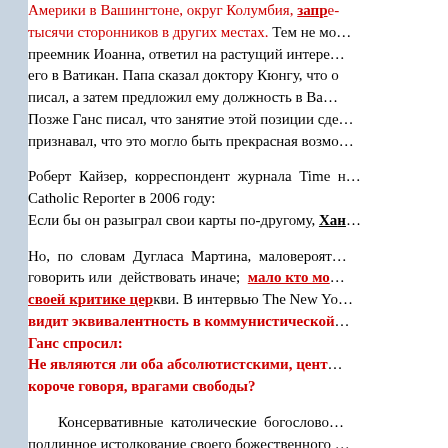Америки в Вашингтоне, округ Колумбия, запрещая тысячи сторонников в других местах. Тем не менее преемник Иоанна, ответил на растущий интерес, пригласив его в Ватикан. Папа сказал доктору Кюнгу, что одобрял то, что он писал, а затем предложил ему должность в Ватикане. Позже Ганс писал, что занятие этой позиции сделало бы его… признавал, что это могло быть прекрасная возможность.
Роберт Кайзер, корреспондент журнала Time написал в National Catholic Reporter в 2006 году: Если бы он разыграл свои карты по-другому, Ганс…
Но, по словам Дугласа Мартина, маловероятно, что он мог говорить или действовать иначе; мало кто мог устоять перед своей критике церкви. В интервью The New Yorker он видит эквивалентность в коммунистической системе. Ганс спросил: Не являются ли оба абсолютистскими, централизованными, короче говоря, врагами свободы?
Консервативные католические богословы оспаривают подлинное истолкование своего божественного полномочия, от которого, как говорят, произошли все папы, как истинная церковь, которую защищал доктор Кюн, какое-то другое гарантирует духовной истины. Самоуверенные…